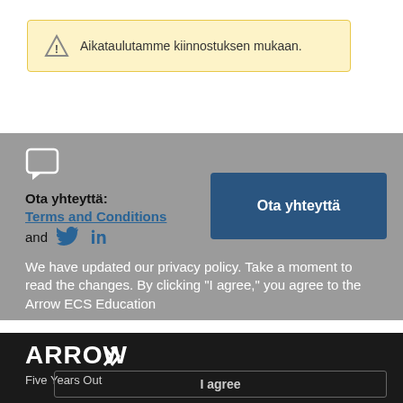Aikataulutamme kiinnostuksen mukaan.
Ota yhteyttä:
Terms and Conditions
and
Privacy Policy
Ota yhteyttä
We have updated our privacy policy. Take a moment to read the changes. By clicking "I agree," you agree to the Arrow ECS Education
[Figure (logo): Arrow Five Years Out logo in white text on black background]
Five Years Out
I agree